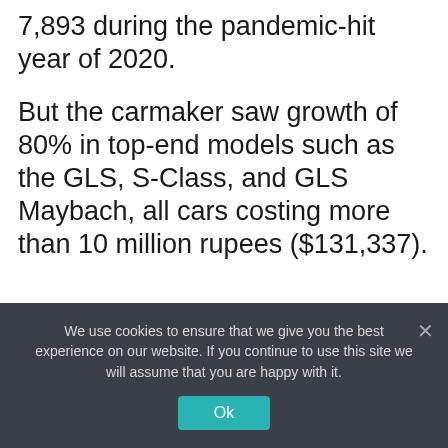7,893 during the pandemic-hit year of 2020.
But the carmaker saw growth of 80% in top-end models such as the GLS, S-Class, and GLS Maybach, all cars costing more than 10 million rupees ($131,337).
Schwenk said while the pandemic had driven some of this demand, as more people “spent for their own pleasure,” India’s luxury car market showed potential for higher growth, a feature missing over the last six to eight years.
We use cookies to ensure that we give you the best experience on our website. If you continue to use this site we will assume that you are happy with it.